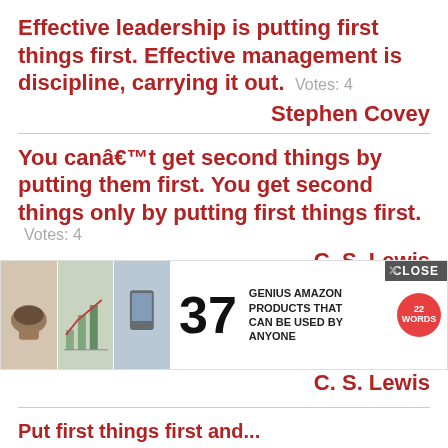Effective leadership is putting first things first. Effective management is discipline, carrying it out.  Votes: 4
Stephen Covey
You canât get second things by putting them first. You get second things only by putting first things first.  Votes: 4
C. S. Lewis
Put first things first and second things are thrown in. Put second things first and you lose both f...
[Figure (screenshot): Advertisement overlay showing '37 GENIUS AMAZON PRODUCTS THAT CAN BE USED BY ANYONE' with images of coffee, chart, phone, a large number 37, and a '22 Words' badge. A CLOSE button is visible at top right.]
C. S. Lewis
Put first things first and...